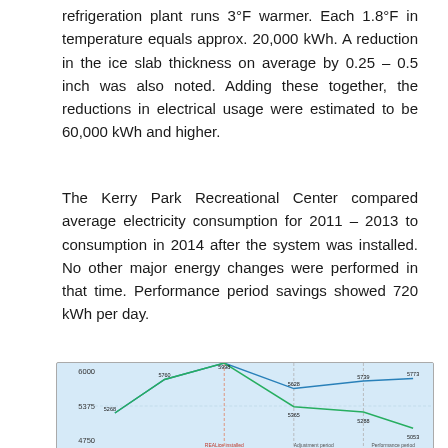refrigeration plant runs 3°F warmer. Each 1.8°F in temperature equals approx. 20,000 kWh. A reduction in the ice slab thickness on average by 0.25 – 0.5 inch was also noted. Adding these together, the reductions in electrical usage were estimated to be 60,000 kWh and higher.
The Kerry Park Recreational Center compared average electricity consumption for 2011 – 2013 to consumption in 2014 after the system was installed. No other major energy changes were performed in that time. Performance period savings showed 720 kWh per day.
[Figure (line-chart): Line chart showing average KWh/Day before and after REALice installation at Kerry Park Recreational Center. Y-axis shows values from 4750 to 6000. Two lines diverge after REALice installation, with the lower line showing reduced consumption through the adjustment and performance periods.]